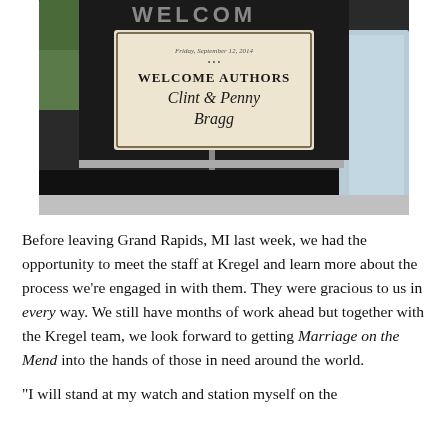[Figure (photo): A photo of a welcome sign on a black letter board reading 'WELCOME AUTHORS Clint & Penny Bragg' with a smaller printed card insert showing 'Friday, September 12, 2014' and decorative dots.]
Before leaving Grand Rapids, MI last week, we had the opportunity to meet the staff at Kregel and learn more about the process we're engaged in with them. They were gracious to us in every way. We still have months of work ahead but together with the Kregel team, we look forward to getting Marriage on the Mend into the hands of those in need around the world.
“I will stand at my watch and station myself on the